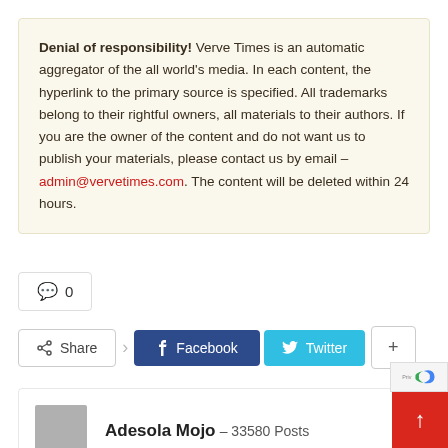Denial of responsibility! Verve Times is an automatic aggregator of the all world's media. In each content, the hyperlink to the primary source is specified. All trademarks belong to their rightful owners, all materials to their authors. If you are the owner of the content and do not want us to publish your materials, please contact us by email – admin@vervetimes.com. The content will be deleted within 24 hours.
0
Share   Facebook   Twitter   +
Adesola Mojo – 33580 Posts